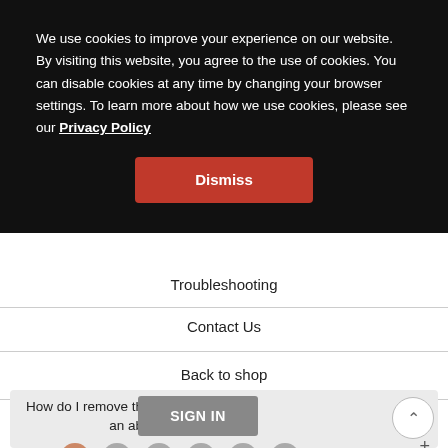We use cookies to improve your experience on our website. By visiting this website, you agree to the use of cookies. You can disable cookies at any time by changing your browser settings. To learn more about how we use cookies, please see our Privacy Policy
[Figure (screenshot): Cookie consent banner with black background and Dismiss button in red]
Troubleshooting
Contact Us
Back to shop
How do I remove the hand held from an above-floor area
How do I remove the hand held and the extension wand to clean above-floor areas?